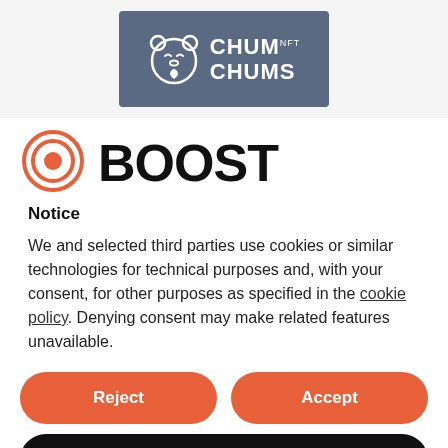[Figure (logo): Chum Chums NFT logo on dark blue-grey background with cartoon bear/hamster face icon]
BOOST
Notice
We and selected third parties use cookies or similar technologies for technical purposes and, with your consent, for other purposes as specified in the cookie policy. Denying consent may make related features unavailable.
Reject
Accept
Learn more and customize